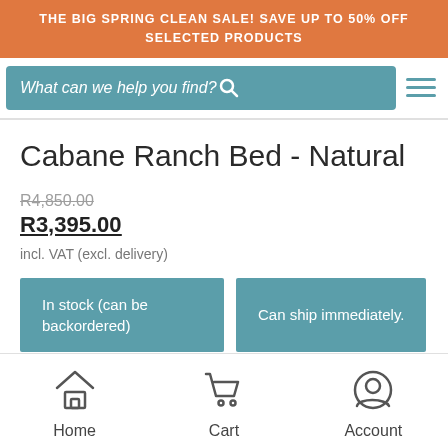THE BIG SPRING CLEAN SALE! SAVE UP TO 50% OFF SELECTED PRODUCTS
What can we help you find?
Cabane Ranch Bed - Natural
R4,850.00
R3,395.00
incl. VAT (excl. delivery)
In stock (can be backordered)
Can ship immediately.
Home  Cart  Account